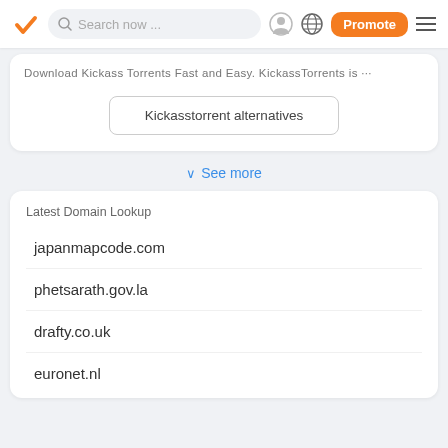Search now ... [nav bar with checkmark logo, search, profile, globe, Promote button, menu]
Download Kickass Torrents Fast and Easy. KickassTorrents is ...
Kickasstorrent alternatives
See more
Latest Domain Lookup
japanmapcode.com
phetsarath.gov.la
drafty.co.uk
euronet.nl